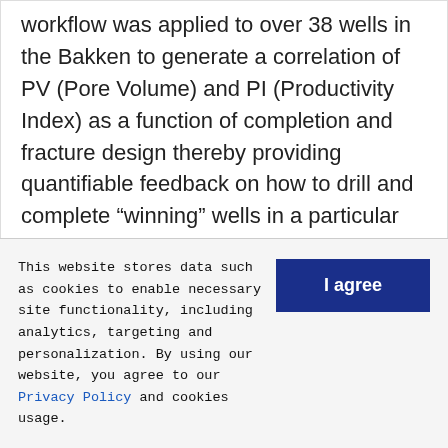workflow was applied to over 38 wells in the Bakken to generate a correlation of PV (Pore Volume) and PI (Productivity Index) as a function of completion and fracture design thereby providing quantifiable feedback on how to drill and complete “winning” wells in a particular geological environment.
As always, economic constraints often stimulate technological creativity, and the author predicts that it will not be long
This website stores data such as cookies to enable necessary site functionality, including analytics, targeting and personalization. By using our website, you agree to our Privacy Policy and cookies usage.